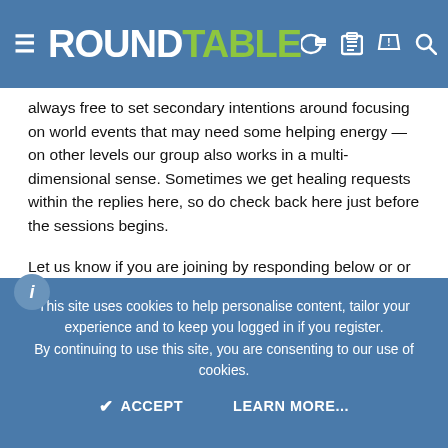RoundTable
always free to set secondary intentions around focusing on world events that may need some helping energy — on other levels our group also works in a multi-dimensional sense. Sometimes we get healing requests within the replies here, so do check back here just before the sessions begins.
Let us know if you are joining by responding below or or contacting us through the Contact Forum Admin link here. The session is 20-30 minutes and you can send, and or receive healing; it is up to you. Anyone can heal. No training is required to participate.
Please provide any feedback on here if you receive any and feel comfortable sharing.
The place we have chosen to visualize when first connecting in, and
This site uses cookies to help personalise content, tailor your experience and to keep you logged in if you register. By continuing to use this site, you are consenting to our use of cookies.